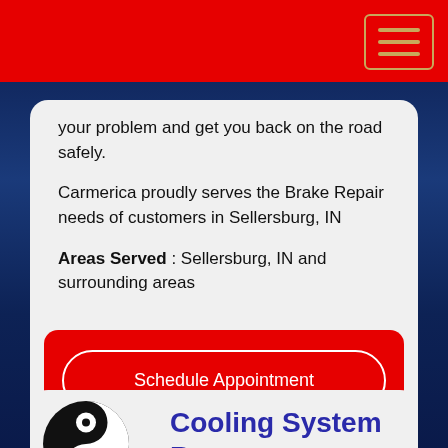your problem and get you back on the road safely.
Carmerica proudly serves the Brake Repair needs of customers in Sellersburg, IN
Areas Served : Sellersburg, IN and surrounding areas
Schedule Appointment
Request a Quote
Cooling System Repair